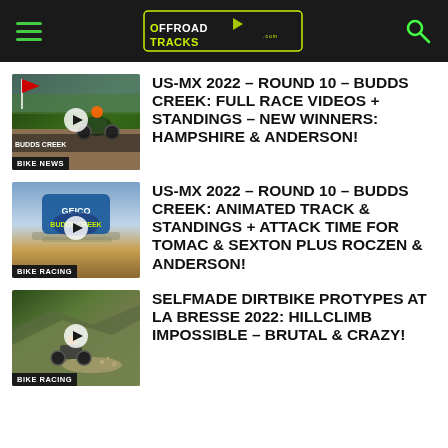OFFROAD TRACKS
[Figure (photo): Thumbnail for US-MX 2022 Round 10 Budds Creek article with play button and BIKE NEWS label]
US-MX 2022 – ROUND 10 – BUDDS CREEK: FULL RACE VIDEOS + STANDINGS – NEW WINNERS: HAMPSHIRE & ANDERSON!
[Figure (photo): Thumbnail for US-MX 2022 Round 10 Budds Creek animated track article with GEICO logo and BIKE RACING label]
US-MX 2022 – ROUND 10 – BUDDS CREEK: ANIMATED TRACK & STANDINGS + ATTACK TIME FOR TOMAC & SEXTON PLUS ROCZEN & ANDERSON!
[Figure (photo): Thumbnail for Selfmade Dirtbike Protypes at La Bresse 2022 hillclimb article with BIKE RACING label]
SELFMADE DIRTBIKE PROTYPES AT LA BRESSE 2022: HILLCLIMB IMPOSSIBLE – BRUTAL & CRAZY!